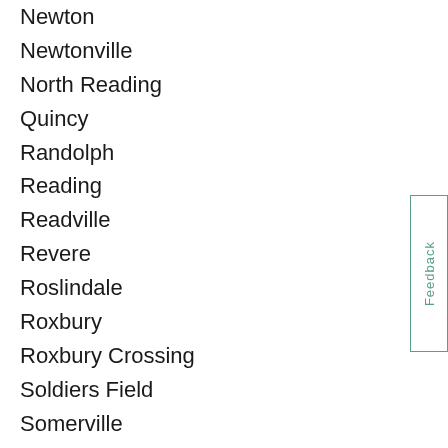Newton
Newtonville
North Reading
Quincy
Randolph
Reading
Readville
Revere
Roslindale
Roxbury
Roxbury Crossing
Soldiers Field
Somerville
South Boston
Squantum
Stoneham
Uphams Corner
Wakefield